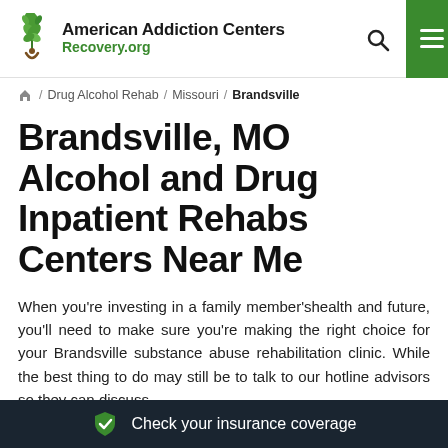American Addiction Centers Recovery.org
/ Drug Alcohol Rehab / Missouri / Brandsville
Brandsville, MO Alcohol and Drug Inpatient Rehabs Centers Near Me
When you're investing in a family member'shealth and future, you'll need to make sure you're making the right choice for your Brandsville substance abuse rehabilitation clinic. While the best thing to do may still be to talk to our hotline advisors so they can discuss
Check your insurance coverage